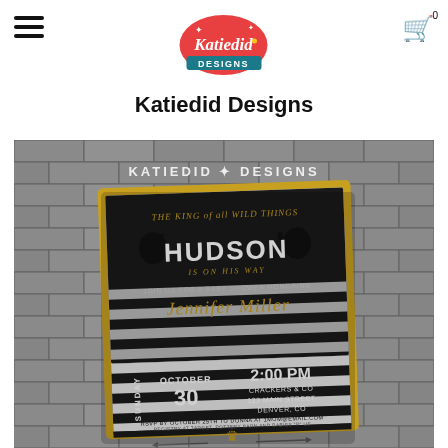Navigation header with hamburger menu and shopping cart icon (badge: 0)
[Figure (logo): Katiedid Designs logo: red/coral retro badge shape with white script text 'Katiedid' and teal banner 'DESIGNS', with sparkle stars]
Katiedid Designs
[Figure (photo): Product photo of a 'Where the Wild Things Are' themed baby shower invitation card displayed against a grey brick wall background. The invitation reads: THE KING of all WILD THINGS / HUDSON / IS ON HIS WAY / JOIN US FOR A BABY SHOWER HONORING / Jennifer Miller / SUNDAY OCTOBER 30 / 2:00 PM / CRACKERS & CO / 123 MAIN STREET / DENVER, CO. The card features black and white stripes, gold text, monster silhouettes, a crown, and arrows. The background shows 'KATIEDID DESIGNS' text on the wall.]